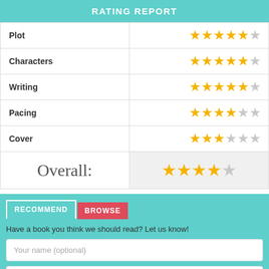RATING REPORT
| Category | Rating |
| --- | --- |
| Plot | 4.5/5 stars |
| Characters | 4.5/5 stars |
| Writing | 4/5 stars |
| Pacing | 4/5 stars |
| Cover | 3/5 stars |
| Overall | 4/5 stars |
RECOMMEND  BROWSE
Have a book you think we should read? Let us know!
Your name (optional)
Email (optional)
Twitter handle (optional)